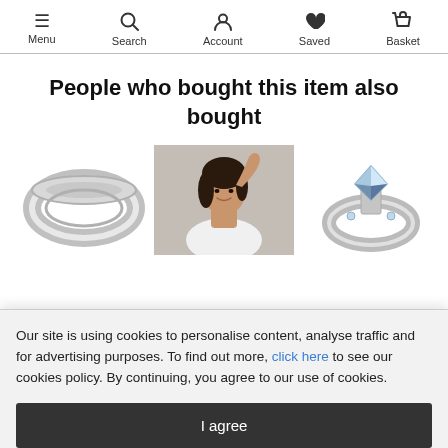Menu | Search | Account | Saved | Basket
People who bought this item also bought
[Figure (photo): Three product images: a silver plain band ring on the left, a smiling woman in a white shirt in the center, and a diamond solitaire ring on the right]
Our site is using cookies to personalise content, analyse traffic and for advertising purposes. To find out more, click here to see our cookies policy. By continuing, you agree to our use of cookies.
I agree